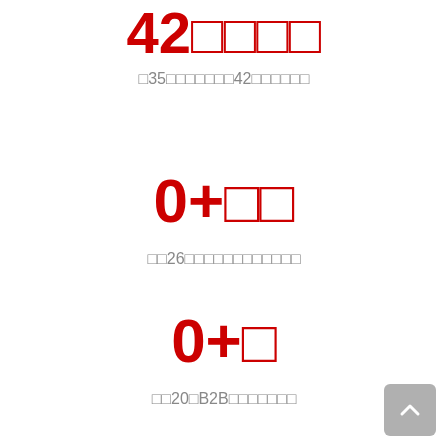42□□□□
□35□□□□□□□42□□□□□□
0+□□
□□26□□□□□□□□□□□□
0+□
□□20□B2B□□□□□□□